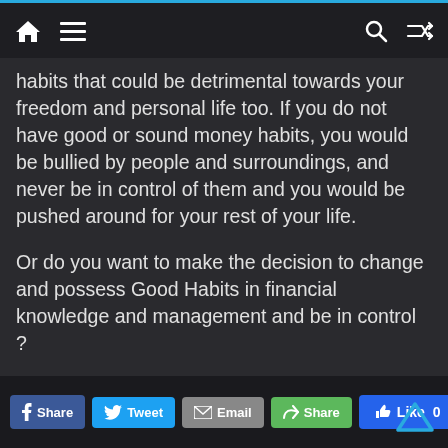Navigation bar with home, menu, search, and shuffle icons
habits that could be detrimental towards your freedom and personal life too. If you do not have good or sound money habits, you would be bullied by people and surroundings, and never be in control of them and you would be pushed around for your rest of your life.
Or do you want to make the decision to change and possess Good Habits in financial knowledge and management and be in control ?
(Adapted from Chapter Eight – Overcoming Obstacles, Rich Dad Poor Dad by Robert Kiyosaki)
Share | Tweet | Email | Share | Like 0